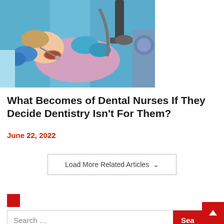[Figure (photo): Dental procedure photo showing a child patient lying in a dental chair with mouth open while two dental professionals in blue scrubs and gloves work on the patient's teeth with dental instruments]
What Becomes of Dental Nurses If They Decide Dentistry Isn't For Them?
June 22, 2022
Load More Related Articles
[Figure (other): Red square decorative element]
Search ...